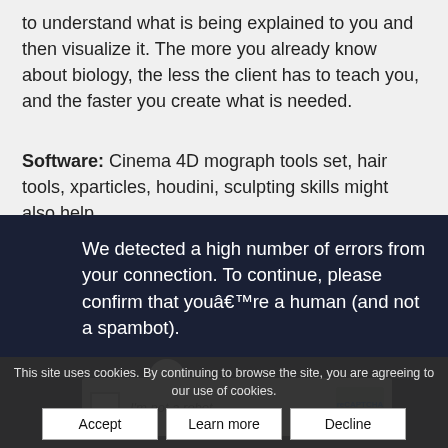to understand what is being explained to you and then visualize it. The more you already know about biology, the less the client has to teach you, and the faster you create what is needed.
Software: Cinema 4D mograph tools set, hair tools, xparticles, houdini, sculpting skills might also help.
Mad Microbe do some amazing work in this field!
We detected a high number of errors from your connection. To continue, please confirm that youâre a human (and not a spambot).
This site uses cookies. By continuing to browse the site, you are agreeing to our use of cookies.
Accept | Learn more | Decline